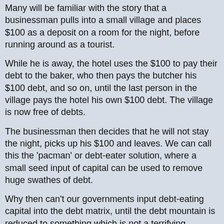Many will be familiar with the story that a businessman pulls into a small village and places $100 as a deposit on a room for the night, before running around as a tourist.
While he is away, the hotel uses the $100 to pay their debt to the baker, who then pays the butcher his $100 debt, and so on, until the last person in the village pays the hotel his own $100 debt. The village is now free of debts.
The businessman then decides that he will not stay the night, picks up his $100 and leaves. We can call this the 'pacman' or debt-eater solution, where a small seed input of capital can be used to remove huge swathes of debt.
Why then can't our governments input debt-eating capital into the debt matrix, until the debt mountain is reduced to something which is not a terrifying structure, over hanging our world economies?
Does anyone see any problems with the pacman debt-eater concept?
Posted by: Ric G | May 17 2020 19:43 utc | 27
Just a thought if people like Gordon Guthrie Chang, Jennifer Zeng, Peter Navarro or even Maria Bartiromo suggest to the two dude Trump and Pompeo sending FBI, CIA agents or even national guard to American's rural areas, small isolate